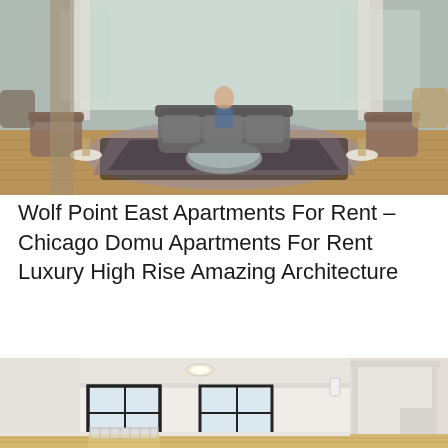[Figure (photo): Interior photo of a modern luxury apartment lounge/lobby area with comfortable seating, armchairs, a round coffee table, large windows, and a person sitting in the background. Warm wood flooring, purple-toned rug, and contemporary furniture.]
Wolf Point East Apartments For Rent – Chicago Domu Apartments For Rent Luxury High Rise Amazing Architecture
[Figure (photo): Interior photo of a bright, empty apartment room with white walls, light wood flooring, two dark-framed windows letting in natural light, a radiator below the windows, and a doorway leading to a bathroom with tiled floor visible on the right.]